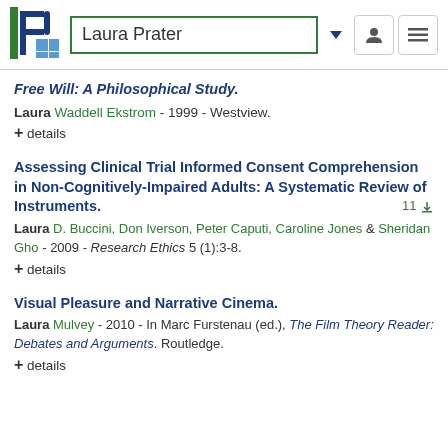Laura Prater
Free Will: A Philosophical Study.
Laura Waddell Ekstrom - 1999 - Westview.
+ details
Assessing Clinical Trial Informed Consent Comprehension in Non-Cognitively-Impaired Adults: A Systematic Review of Instruments.
Laura D. Buccini, Don Iverson, Peter Caputi, Caroline Jones & Sheridan Gho - 2009 - Research Ethics 5 (1):3-8.
+ details
Visual Pleasure and Narrative Cinema.
Laura Mulvey - 2010 - In Marc Furstenau (ed.), The Film Theory Reader: Debates and Arguments. Routledge.
+ details